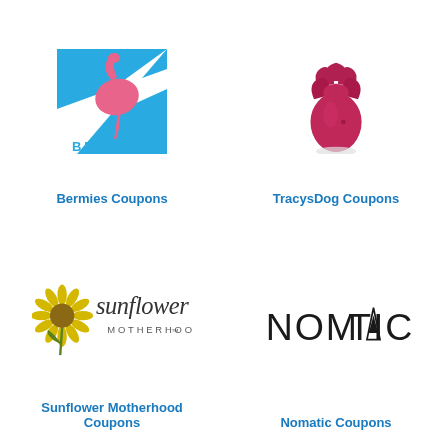[Figure (logo): Bermies brand logo: blue and white geometric shape with pink flamingo silhouette and BERMIES text in blue below]
Bermies Coupons
[Figure (logo): TracysDog product logo: dark pink/magenta rose-shaped silicone product on white background]
TracysDog Coupons
[Figure (logo): Sunflower Motherhood logo: yellow sunflower illustration with cursive sunflower text and MOTHERHOOD subtitle]
Sunflower Motherhood Coupons
[Figure (logo): Nomatic logo: NOMATIC text in large thin black letters with triangle in letter A]
Nomatic Coupons